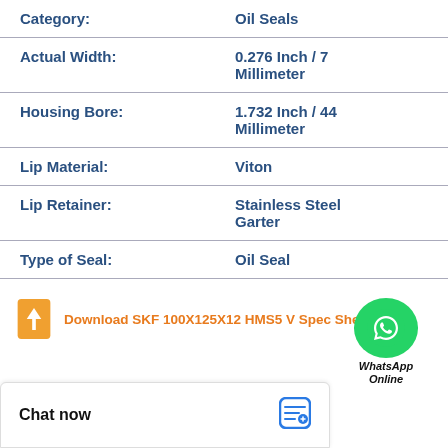| Category | Value |
| --- | --- |
| Category: | Oil Seals |
| Actual Width: | 0.276 Inch / 7 Millimeter |
| Housing Bore: | 1.732 Inch / 44 Millimeter |
| Lip Material: | Viton |
| Lip Retainer: | Stainless Steel Garter |
| Type of Seal: | Oil Seal |
[Figure (logo): WhatsApp green circle icon with phone handset, labeled WhatsApp Online]
Download SKF 100X125X12 HMS5 V Spec Sheet
Chat now